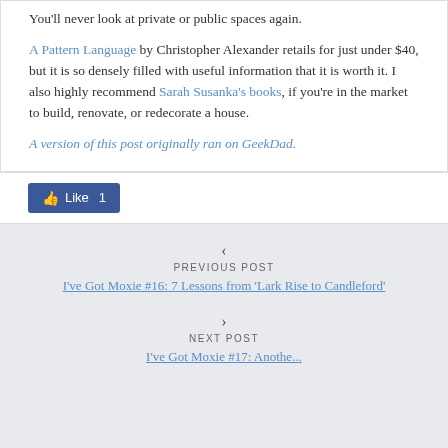You'll never look at private or public spaces again.
A Pattern Language by Christopher Alexander retails for just under $40, but it is so densely filled with useful information that it is worth it. I also highly recommend Sarah Susanka's books, if you're in the market to build, renovate, or redecorate a house.
A version of this post originally ran on GeekDad.
[Figure (other): Facebook Like button showing count of 1]
PREVIOUS POST
I've Got Moxie #16: 7 Lessons from 'Lark Rise to Candleford'
NEXT POST
I've Got Moxie #17: Anothe...